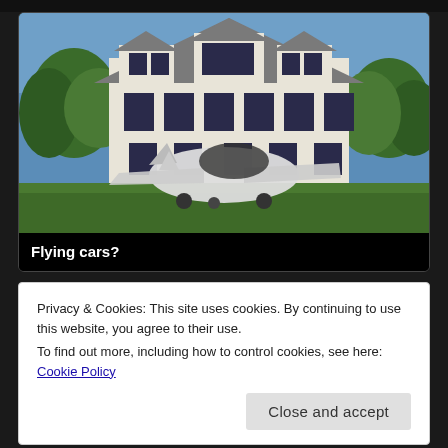[Figure (photo): A flying car / roadable aircraft parked on a green lawn in front of a large two-story white colonial house with dormers and black shutters. The vehicle has wings and looks like a small plane combined with a car. Blue sky visible above the house. Text overlay at bottom reads 'Flying cars?']
Flying cars?
Privacy & Cookies: This site uses cookies. By continuing to use this website, you agree to their use.
To find out more, including how to control cookies, see here: Cookie Policy